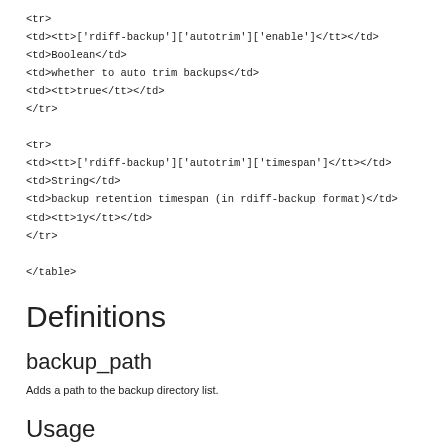<tr>
<td><tt>['rdiff-backup']['autotrim']['enable']</tt></td>
<td>Boolean</td>
<td>whether to auto trim backups</td>
<td><tt>true</tt></td>
</tr>
<tr>
<td><tt>['rdiff-backup']['autotrim']['timespan']</tt></td>
<td>String</td>
<td>backup retention timespan (in rdiff-backup format)</td>
<td><tt>1y</tt></td>
</tr>
</table>
Definitions
backup_path
Adds a path to the backup directory list.
Usage